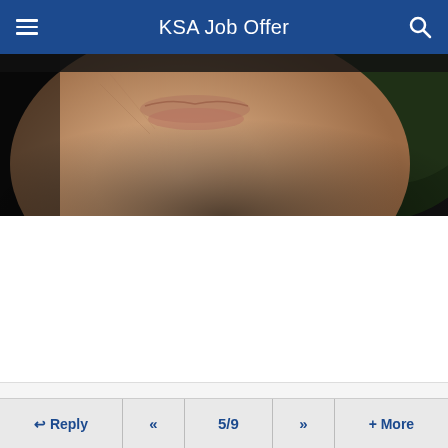KSA Job Offer
[Figure (photo): Close-up photo of a person's lower face (chin and lips area) smiling, against a dark blurred background with some green foliage visible on the right side.]
Reply  «  5/9  »  + More